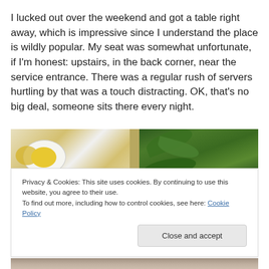I lucked out over the weekend and got a table right away, which is impressive since I understand the place is wildly popular. My seat was somewhat unfortunate, if I'm honest: upstairs, in the back corner, near the service entrance. There was a regular rush of servers hurtling by that was a touch distracting. OK, that's no big deal, someone sits there every night.
[Figure (photo): Food photo showing deviled eggs with yellow yolk filling on the left and fresh green salad leaves on the right]
Privacy & Cookies: This site uses cookies. By continuing to use this website, you agree to their use.
To find out more, including how to control cookies, see here: Cookie Policy
[Figure (photo): Partial food photo visible at the very bottom of the page]